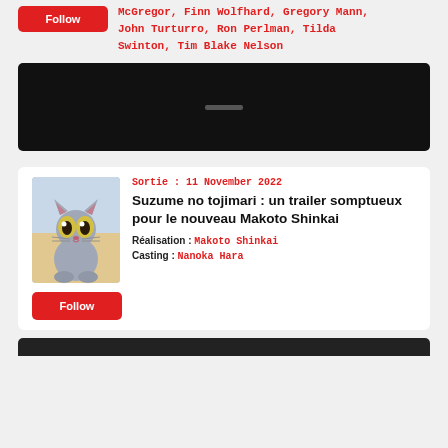McGregor, Finn Wolfhard, Gregory Mann, John Turturro, Ron Perlman, Tilda Swinton, Tim Blake Nelson
[Figure (other): Black video player block with a small grey progress/play bar in the center]
Sortie : 11 November 2022
[Figure (illustration): Anime-style small grey cat character with large golden eyes, sitting upright, against a light blurred background]
Suzume no tojimari : un trailer somptueux pour le nouveau Makoto Shinkai
Réalisation : Makoto Shinkai
Casting : Nanoka Hara